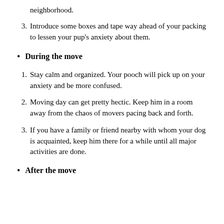neighborhood.
3. Introduce some boxes and tape way ahead of your packing to lessen your pup's anxiety about them.
During the move
1. Stay calm and organized. Your pooch will pick up on your anxiety and be more confused.
2. Moving day can get pretty hectic. Keep him in a room away from the chaos of movers pacing back and forth.
3. If you have a family or friend nearby with whom your dog is acquainted, keep him there for a while until all major activities are done.
After the move